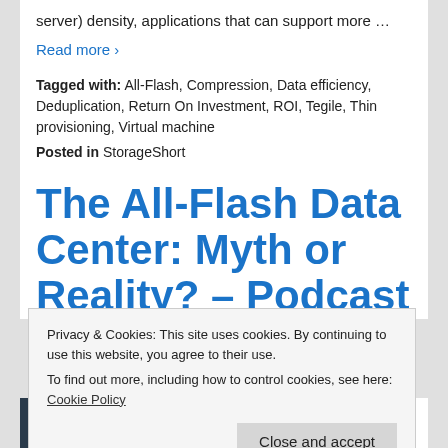server) density, applications that can support more …
Read more ›
Tagged with: All-Flash, Compression, Data efficiency, Deduplication, Return On Investment, ROI, Tegile, Thin provisioning, Virtual machine
Posted in StorageShort
The All-Flash Data Center: Myth or Reality? – Podcast
Privacy & Cookies: This site uses cookies. By continuing to use this website, you agree to their use.
To find out more, including how to control cookies, see here: Cookie Policy
Close and accept
possible? Storage